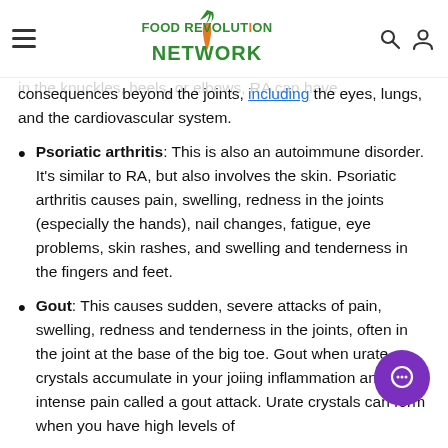Food Revolution Network
means that it's a condition in which the body mistakenly attacks itself. On top of joint findings, RA causes joint pain and stiffness. In addition to pain in the knuckles, heels, or elbows, RA can have consequences beyond the joints, including the eyes, lungs, and the cardiovascular system.
Psoriatic arthritis: This is also an autoimmune disorder. It's similar to RA, but also involves the skin. Psoriatic arthritis causes pain, swelling, redness in the joints (especially the hands), nail changes, fatigue, eye problems, skin rashes, and swelling and tenderness in the fingers and feet.
Gout: This causes sudden, severe attacks of pain, swelling, redness and tenderness in the joints, often in the joint at the base of the big toe. Gout when urate crystals accumulate in your joi inflammation and intense pain called a gout attack. Urate crystals can form when you have high levels of